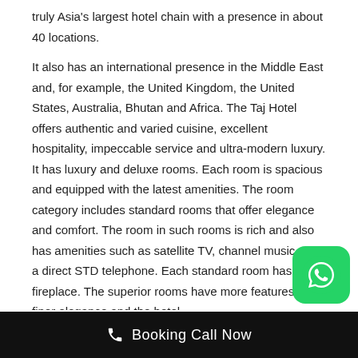truly Asia's largest hotel chain with a presence in about 40 locations.
It also has an international presence in the Middle East and, for example, the United Kingdom, the United States, Australia, Bhutan and Africa. The Taj Hotel offers authentic and varied cuisine, excellent hospitality, impeccable service and ultra-modern luxury. It has luxury and deluxe rooms. Each room is spacious and equipped with the latest amenities. The room category includes standard rooms that offer elegance and comfort. The room in such rooms is rich and also has amenities such as satellite TV, channel music and a direct STD telephone. Each standard room has a fireplace. The superior rooms have more features and finer elegance and the hotel...
Booking Call Now